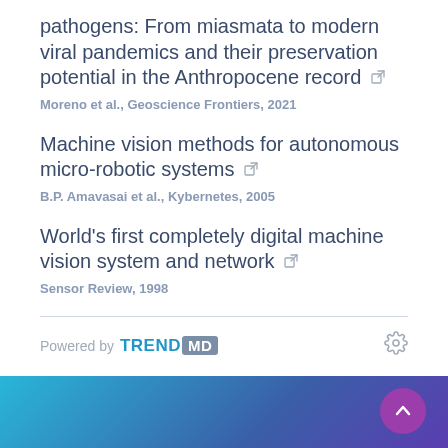pathogens: From miasmata to modern viral pandemics and their preservation potential in the Anthropocene record
Moreno et al., Geoscience Frontiers, 2021
Machine vision methods for autonomous micro-robotic systems
B.P. Amavasai et al., Kybernetes, 2005
World's first completely digital machine vision system and network
Sensor Review, 1998
[Figure (logo): Powered by TREND MD logo with gear icon]
[Figure (illustration): Blue to purple gradient footer bar with back-to-top arrow button in purple circle]